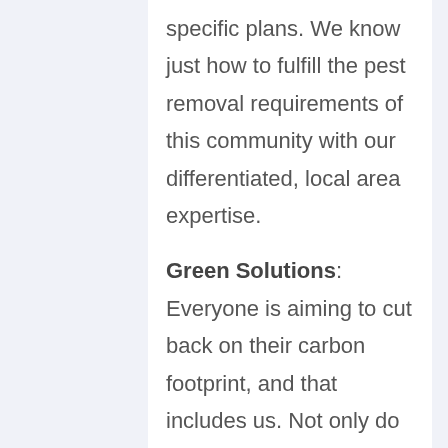specific plans. We know just how to fulfill the pest removal requirements of this community with our differentiated, local area expertise.
Green Solutions: Everyone is aiming to cut back on their carbon footprint, and that includes us. Not only do we know how much many of our clients care about our planet but we respect it too, which is why we're making use of sustainable and eco-friendly practices whenever we can. We make sure that our solutions are risk-free for the